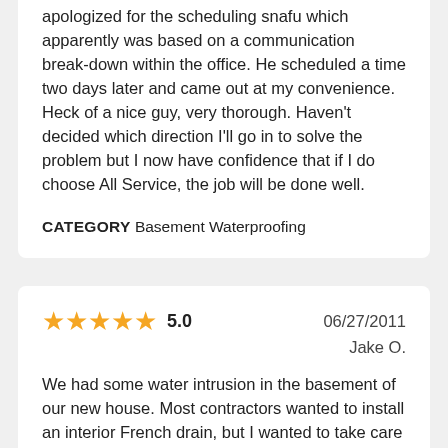apologized for the scheduling snafu which apparently was based on a communication break-down within the office. He scheduled a time two days later and came out at my convenience. Heck of a nice guy, very thorough. Haven't decided which direction I'll go in to solve the problem but I now have confidence that if I do choose All Service, the job will be done well.
CATEGORY Basement Waterproofing
5.0  06/27/2011  Jake O.
We had some water intrusion in the basement of our new house. Most contractors wanted to install an interior French drain, but I wanted to take care of it from the outside. They arrived on time, were courteous and professional, and were exceptionally